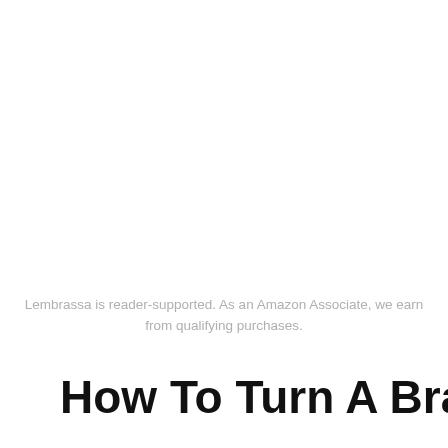Lembrassa is reader-supported. As an Amazon Associate, we earn from qualifying purchases.
How To Turn A Bra Into